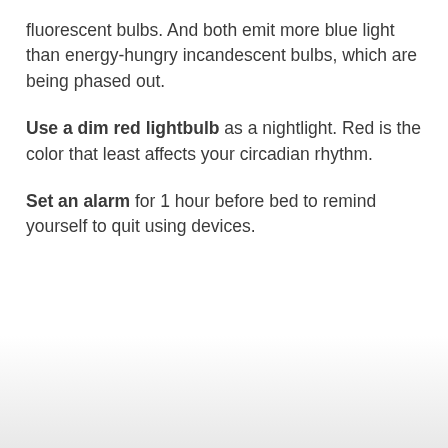fluorescent bulbs. And both emit more blue light than energy-hungry incandescent bulbs, which are being phased out.
Use a dim red lightbulb as a nightlight. Red is the color that least affects your circadian rhythm.
Set an alarm for 1 hour before bed to remind yourself to quit using devices.